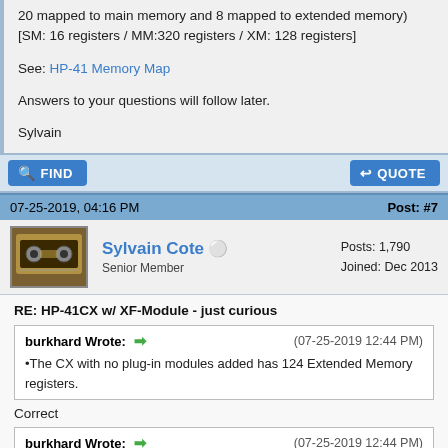20 mapped to main memory and 8 mapped to extended memory) [SM: 16 registers / MM:320 registers / XM: 128 registers]
See: HP-41 Memory Map
Answers to your questions will follow later.
Sylvain
FIND    QUOTE
07-25-2019, 04:16 PM    Post: #7
Sylvain Cote  Senior Member  Posts: 1,790  Joined: Dec 2013
RE: HP-41CX w/ XF-Module - just curious
burkhard Wrote: (07-25-2019 12:44 PM) •The CX with no plug-in modules added has 124 Extended Memory registers.
Correct
burkhard Wrote: (07-25-2019 12:44 PM)